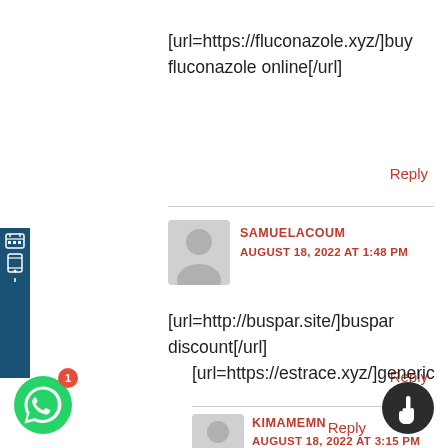[url=https://fluconazole.xyz/]buy fluconazole online[/url]
Reply
SAMUELACOUM
AUGUST 18, 2022 AT 1:48 PM
[url=http://buspar.site/]buspar discount[/url]
Reply
KIMAMEMN
AUGUST 18, 2022 AT 3:15 PM
[url=https://estrace.xyz/]generic estrace[/url]
Reply